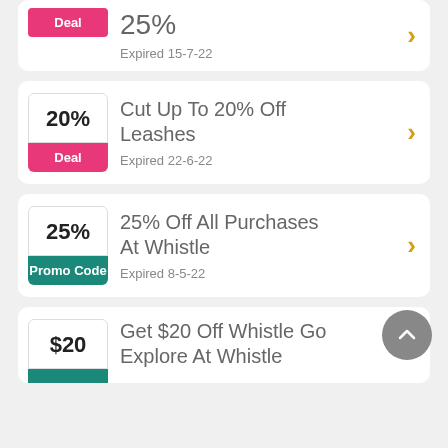[Figure (screenshot): Partial deal card at top showing 25% in pink badge labeled Deal, expired 15-7-22]
Cut Up To 20% Off Leashes — Expired 22-6-22 — Deal badge
25% Off All Purchases At Whistle — Expired 8-5-22 — Promo Code badge
Get $20 Off Whistle Go Explore At Whistle — Deal card (partial)